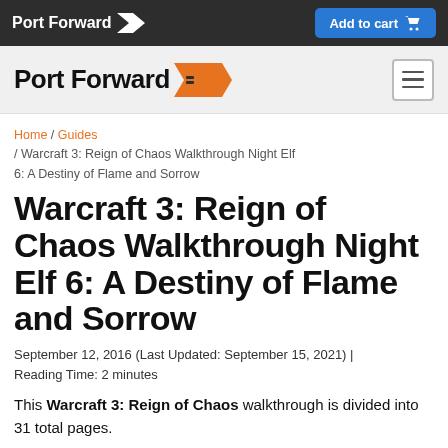Port Forward  Add to cart
Port Forward
Home / Guides / Warcraft 3: Reign of Chaos Walkthrough Night Elf 6: A Destiny of Flame and Sorrow
Warcraft 3: Reign of Chaos Walkthrough Night Elf 6: A Destiny of Flame and Sorrow
September 12, 2016 (Last Updated: September 15, 2021) | Reading Time: 2 minutes
This Warcraft 3: Reign of Chaos walkthrough is divided into 31 total pages.